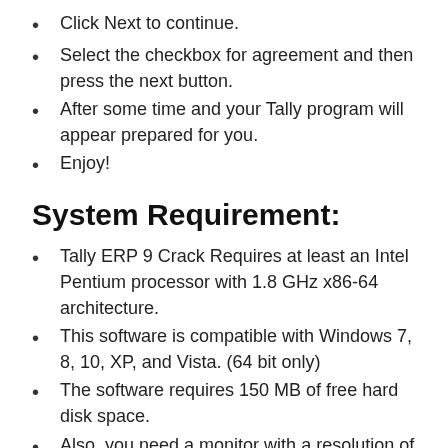Click Next to continue.
Select the checkbox for agreement and then press the next button.
After some time and your Tally program will appear prepared for you.
Enjoy!
System Requirement:
Tally ERP 9 Crack Requires at least an Intel Pentium processor with 1.8 GHz x86-64 architecture.
This software is compatible with Windows 7, 8, 10, XP, and Vista. (64 bit only)
The software requires 150 MB of free hard disk space.
Also, you need a monitor with a resolution of